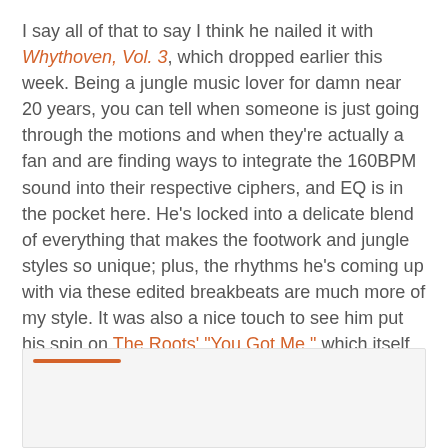I say all of that to say I think he nailed it with Whythoven, Vol. 3, which dropped earlier this week. Being a jungle music lover for damn near 20 years, you can tell when someone is just going through the motions and when they're actually a fan and are finding ways to integrate the 160BPM sound into their respective ciphers, and EQ is in the pocket here. He's locked into a delicate blend of everything that makes the footwork and jungle styles so unique; plus, the rhythms he's coming up with via these edited breakbeats are much more of my style. It was also a nice touch to see him put his spin on The Roots' "You Got Me," which itself was a fly hip-hop track that delved into some late-'90s crispy jungle bliss.
You can stream the full project below, and cop the entire release via Bandcamp.
[Figure (other): Embedded media player box with orange bar accent at top left]